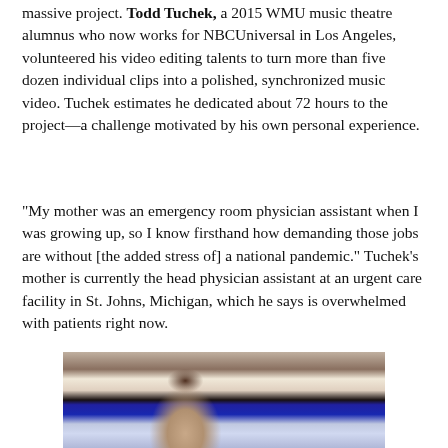massive project. Todd Tuchek, a 2015 WMU music theatre alumnus who now works for NBCUniversal in Los Angeles, volunteered his video editing talents to turn more than five dozen individual clips into a polished, synchronized music video. Tuchek estimates he dedicated about 72 hours to the project—a challenge motivated by his own personal experience.
"My mother was an emergency room physician assistant when I was growing up, so I know firsthand how demanding those jobs are without [the added stress of] a national pandemic." Tuchek's mother is currently the head physician assistant at an urgent care facility in St. Johns, Michigan, which he says is overwhelmed with patients right now.
[Figure (photo): Photo of a young man wearing headphones, sitting in front of a large monitor showing video editing software with multiple video clips, and a laptop to the right. He is smiling at the camera.]